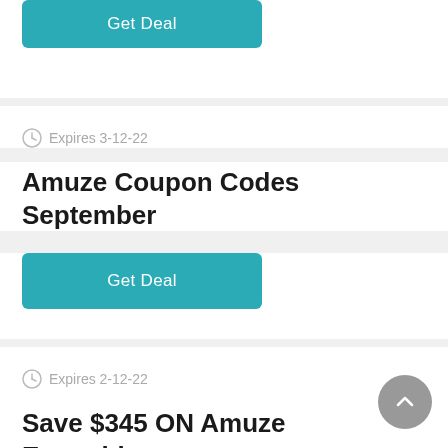[Figure (other): Teal Get Deal button at top of page (partially visible)]
Expires 3-12-22
Amuze Coupon Codes September
Get Deal
Expires 2-12-22
Save $345 ON Amuze Everything